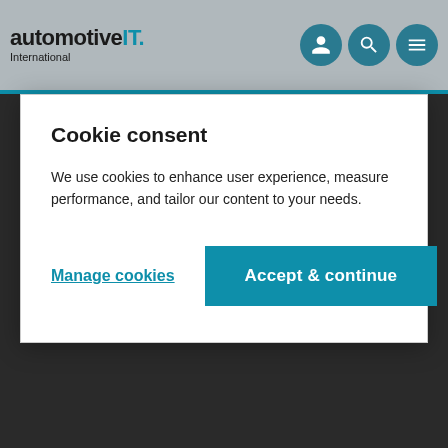automotiveIT International
Cookie consent
We use cookies to enhance user experience, measure performance, and tailor our content to your needs.
Manage cookies   Accept & continue
automotiveIT International brings you tactical insights and intelligence on the innovations and transformational strategies being driven across the automotive value chain globally.
Register now for free to stay up-to-date with the latest industry developments, trends, and analysis, to find in-depth reports and intelligence and to connect with your